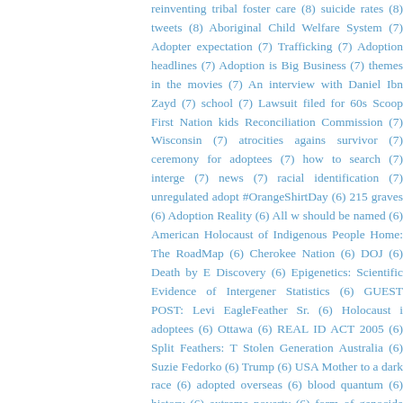reinventing tribal foster care (8) suicide rates (8) tweets (8) Aboriginal Child Welfare System (7) Adopter expectation (7) Trafficking (7) Adoption headlines (7) Adoption is Big Business (7) themes in the movies (7) An interview with Daniel Ibn Zayd (7) school (7) Lawsuit filed for 60s Scoop First Nation kids (7) Reconciliation Commission (7) Wisconsin (7) atrocities against survivor (7) ceremony for adoptees (7) how to search (7) intergenerational (7) news (7) racial identification (7) unregulated adoption #OrangeShirtDay (6) 215 graves (6) Adoption Reality (6) All who should be named (6) American Holocaust of Indigenous People Home: The RoadMap (6) Cherokee Nation (6) DOJ (6) Death by Discovery (6) Epigenetics: Scientific Evidence of Intergenerational Statistics (6) GUEST POST: Levi EagleFeather Sr. (6) Holocaust i adoptees (6) Ottawa (6) REAL ID ACT 2005 (6) Split Feathers: T Stolen Generation Australia (6) Suzie Fedorko (6) Trump (6) USA Mother to a dark race (6) adopted overseas (6) blood quantum (6) history (6) extreme poverty (6) form of genocide (6) npr (6) #HonorNativeLand (5) #MMIWG2S (5) #validvoices (5) 60s Scoop Nakuset's Story (5) A Generation Removed (5) Adopt Indi Reality (5) Adoption Awareness Month (5) American Indian Welfare Crisis (5) Carrying Historical Trauma (5) Covid-19 (5) Adoptee (5) Indian Genocide (5) Lakota Law Project (5) Manit Pember (5) Montana (5) New Mexico (5) November (5) Open Ac PTSD (5) Quebec (5) Reactive Attachment Disorder (5) Real re Reservation poverty (5) Social Work (5) Survivors of the Indian A